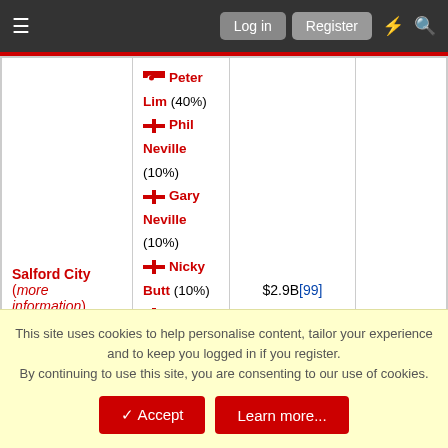Log in | Register
| Club | Owners | Value |  |
| --- | --- | --- | --- |
| Salford City (more information) | Peter Lim (40%)
Phil Neville (10%)
Gary Neville (10%)
Nicky Butt (10%)
Paul Scholes (10%)
Ryan Giggs (10%)
David Beckham (10%) | $2.9B[99] |  |
Jan 20, 2022 #356
grecian-near-hell
Well-known Exeweb poster
This site uses cookies to help personalise content, tailor your experience and to keep you logged in if you register.
By continuing to use this site, you are consenting to our use of cookies.